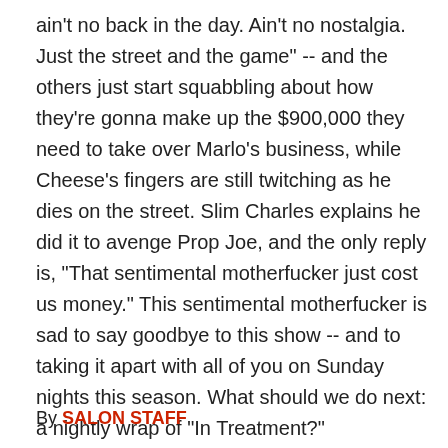ain't no back in the day. Ain't no nostalgia. Just the street and the game" -- and the others just start squabbling about how they're gonna make up the $900,000 they need to take over Marlo's business, while Cheese's fingers are still twitching as he dies on the street. Slim Charles explains he did it to avenge Prop Joe, and the only reply is, "That sentimental motherfucker just cost us money." This sentimental motherfucker is sad to say goodbye to this show -- and to taking it apart with all of you on Sunday nights this season. What should we do next: a nightly wrap of "In Treatment?"
By SALON STAFF